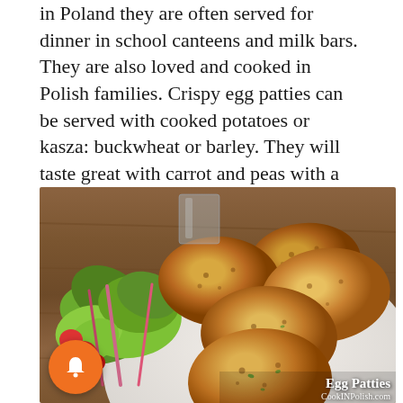in Poland they are often served for dinner in school canteens and milk bars. They are also loved and cooked in Polish families. Crispy egg patties can be served with cooked potatoes or kasza: buckwheat or barley. They will taste great with carrot and peas with a roux, or with mushroom sauce. Check this easy recipe.
[Figure (photo): A white plate with several golden-brown crispy egg patties served alongside a fresh green salad with tomatoes and radicchio leaves, on a wooden table. Caption reads 'Egg Patties / CookINPolish.com']